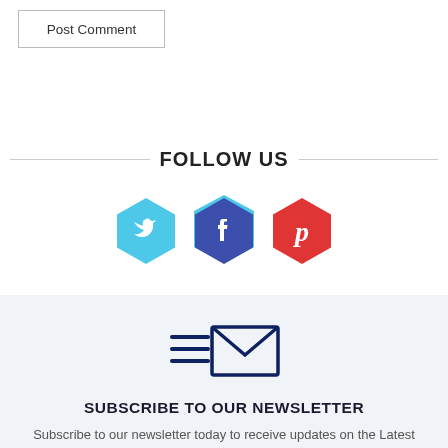Post Comment
FOLLOW US
[Figure (illustration): Three hexagonal social media icons: Twitter (light blue), Facebook (dark blue/indigo), Pinterest (red)]
[Figure (illustration): Newsletter icon: envelope with three horizontal lines to its left, drawn in dark navy blue]
SUBSCRIBE TO OUR NEWSLETTER
Subscribe to our newsletter today to receive updates on the Latest News and Threats.
Full Name